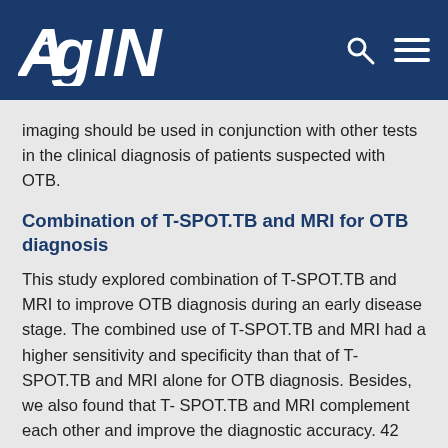AGING
imaging should be used in conjunction with other tests in the clinical diagnosis of patients suspected with OTB.
Combination of T-SPOT.TB and MRI for OTB diagnosis
This study explored combination of T-SPOT.TB and MRI to improve OTB diagnosis during an early disease stage. The combined use of T-SPOT.TB and MRI had a higher sensitivity and specificity than that of T-SPOT.TB and MRI alone for OTB diagnosis. Besides, we also found that T- SPOT.TB and MRI complement each other and improve the diagnostic accuracy. 42 patients in the control group were positive for the T-SPOT.TB test, which may be caused by the presence of latent infections, and this reduced the specificity of T-SPOT.TB. Further analysis showed that only 9.5%